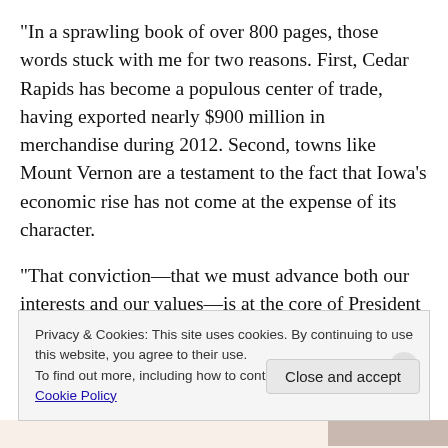“In a sprawling book of over 800 pages, those words stuck with me for two reasons. First, Cedar Rapids has become a populous center of trade, having exported nearly $900 million in merchandise during 2012. Second, towns like Mount Vernon are a testament to the fact that Iowa’s economic rise has not come at the expense of its character.
“That conviction—that we must advance both our interests and our values—is at the core of President Obama’s trade agenda. And nowhere is that commitment more evident
Privacy & Cookies: This site uses cookies. By continuing to use this website, you agree to their use.
To find out more, including how to control cookies, see here: Cookie Policy
Close and accept